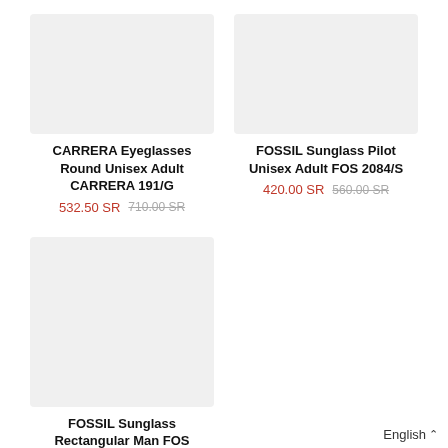[Figure (photo): Product image placeholder for CARRERA Eyeglasses Round Unisex Adult CARRERA 191/G]
CARRERA Eyeglasses Round Unisex Adult CARRERA 191/G
532.50 SR  710.00 SR
[Figure (photo): Product image placeholder for FOSSIL Sunglass Pilot Unisex Adult FOS 2084/S]
FOSSIL Sunglass Pilot Unisex Adult FOS 2084/S
420.00 SR  560.00 SR
[Figure (photo): Product image placeholder for FOSSIL Sunglass Rectangular Man FOS 3087/S]
FOSSIL Sunglass Rectangular Man FOS 3087/S
337.50 SR  450.00 SR
English